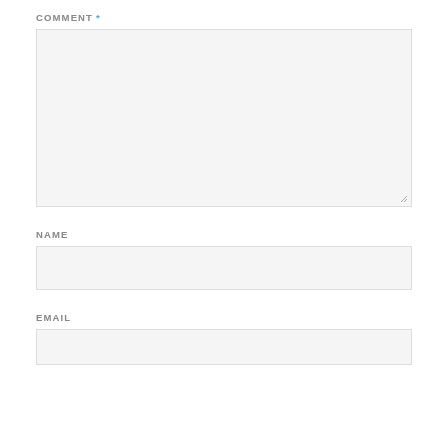COMMENT *
[Figure (other): Large empty comment textarea with resize handle at bottom-right corner, light gray background]
NAME
[Figure (other): Single-line text input field for name, light gray background]
EMAIL
[Figure (other): Single-line text input field for email, light gray background, partially cut off at bottom]